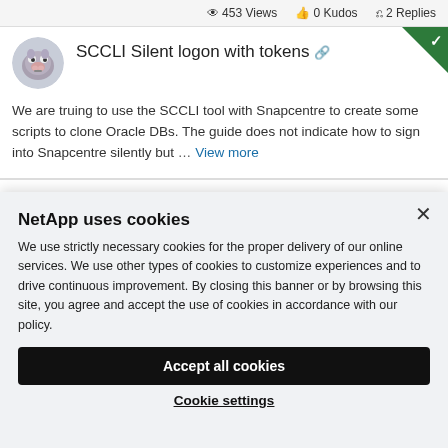453 Views  0 Kudos  2 Replies
SCCLI Silent logon with tokens
We are truing to use the SCCLI tool with Snapcentre to create some scripts to clone Oracle DBs. The guide does not indicate how to sign into Snapcentre silently but … View more
NetApp uses cookies
We use strictly necessary cookies for the proper delivery of our online services. We use other types of cookies to customize experiences and to drive continuous improvement. By closing this banner or by browsing this site, you agree and accept the use of cookies in accordance with our policy.
Accept all cookies
Cookie settings